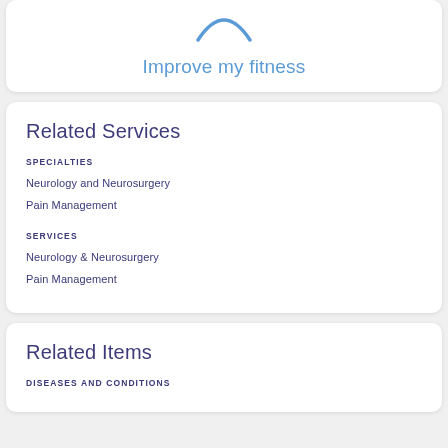[Figure (illustration): Arc/smile icon in light blue at top of card]
Improve my fitness
Related Services
SPECIALTIES
Neurology and Neurosurgery
Pain Management
SERVICES
Neurology & Neurosurgery
Pain Management
Related Items
DISEASES AND CONDITIONS